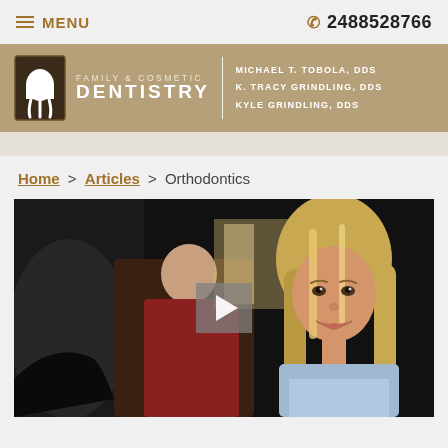≡ MENU   2488528766
[Figure (logo): Family & Cosmetic Dentistry logo with tooth icon. Doctors: Michael T. Tobola DDS, K. Tracy Grindling DDS, Kyle Grindling DDS]
Home > Articles > Orthodontics
[Figure (photo): Video thumbnail showing a smiling teenage girl with long blonde hair in a classroom or indoor setting, with a play button overlay. Background shows a blurred person in a red shirt.]